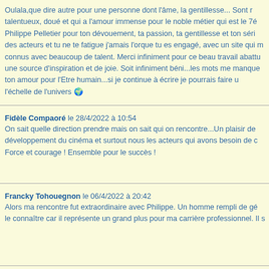Oulala,que dire autre pour une personne dont l'âme, la gentillesse... Sont r... talentueux, doué et qui a l'amour immense pour le noble métier qui est le 7é... Philippe Pelletier pour ton dévouement, ta passion, ta gentillesse et ton séri... des acteurs et tu ne te fatigue j'amais l'orque tu es engagé, avec un site qui m... connus avec beaucoup de talent. Merci infiniment pour ce beau travail abattu... une source d'inspiration et de joie. Soit infiniment béni...les mots me manque... ton amour pour l'Etre humain...si je continue à écrire je pourrais faire u... l'échelle de l'univers 🌍
Fidèle Compaoré le 28/4/2022 à 10:54
On sait quelle direction prendre mais on sait qui on rencontre...Un plaisir de... développement du cinéma et surtout nous les acteurs qui avons besoin de c... Force et courage ! Ensemble pour le succès !
Francky Tohouegnon le 06/4/2022 à 20:42
Alors ma rencontre fut extraordinaire avec Philippe. Un homme rempli de gé... le connaître car il représente un grand plus pour ma carrière professionnel. Il s...